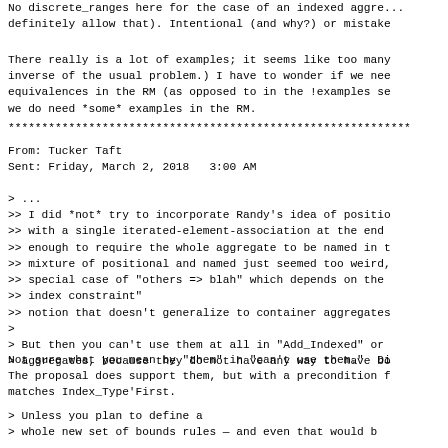No discrete_ranges here for the case of an indexed aggre...
definitely allow that). Intentional (and why?) or mistake
There really is a lot of examples; it seems like too many
inverse of the usual problem.) I have to wonder if we nee
equivalences in the RM (as opposed to in the !examples se
we do need *some* examples in the RM.
************************************************************
From: Tucker Taft
Sent: Friday, March 2, 2018   3:00 AM
> ...
>> I did *not* try to incorporate Randy's idea of positio
>> with a single iterated-element-association at the end
>> enough to require the whole aggregate to be named in t
>> mixture of positional and named just seemed too weird,
>> special case of "others => blah" which depends on the
>> index constraint"
>> notion that doesn't generalize to container aggregates
>
> But then you can't use them at all in "Add_Indexed" or
> aggregates, because they do not have any way to have bo
Not sure what you mean by "them" in "can't use them."  Di
The proposal does support them, but with a precondition f
matches Index_Type'First.
> Unless you plan to define a
> whole new set of bounds rules — and even that would b